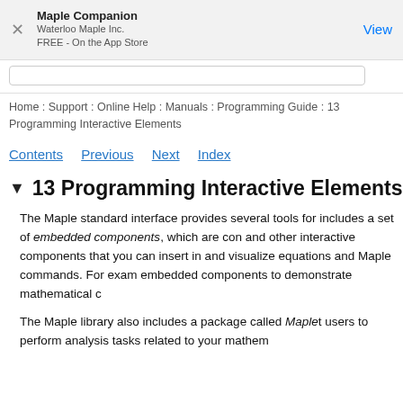Maple Companion
Waterloo Maple Inc.
FREE - On the App Store
View
Home : Support : Online Help : Manuals : Programming Guide : 13 Programming Interactive Elements
Contents   Previous   Next   Index
13 Programming Interactive Elements
The Maple standard interface provides several tools for includes a set of embedded components, which are con and other interactive components that you can insert in and visualize equations and Maple commands. For exam embedded components to demonstrate mathematical c
The Maple library also includes a package called Maple users to perform analysis tasks related to your mathem